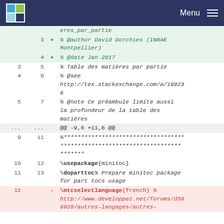Menu
| old | new | sign | code |
| --- | --- | --- | --- |
|  |  |  | eres_par_partie |
|  | 3 | + | % @author David Dorchies (INRAE Montpellier) |
|  | 4 | + | % @date Jan 2017 |
| 3 | 5 |  | % Table des matières par partie |
| 4 | 6 |  | % @see http://tex.stackexchange.com/a/1992336 |
| 5 | 7 |  | % @note Ce préambule limite aussi la profondeur de la table des matières |
| ... | ... |  | @@ -9,6 +11,6 @@ |
| 9 | 11 |  | %************************************************************* |
| 10 | 12 |  | \usepackage{minitoc} |
| 11 | 13 |  | \doparttoc% Prepare minitoc package for part tocs usage |
| 12 |  | - | \mtcselectlanguage{french} % http://www.developpez.net/forums/d599928/autres-languages/autres- |